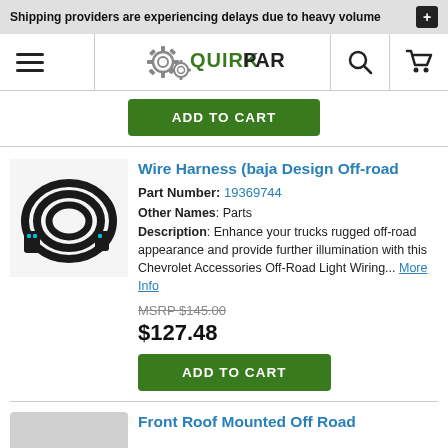Shipping providers are experiencing delays due to heavy volume
[Figure (logo): QuirkParts.com logo with gear icons]
ADD TO CART
Wire Harness (baja Design Off-road
Part Number: 19369744
Other Names: Parts
Description: Enhance your trucks rugged off-road appearance and provide further illumination with this Chevrolet Accessories Off-Road Light Wiring... More Info
MSRP $145.00
$127.48
ADD TO CART
Front Roof Mounted Off Road